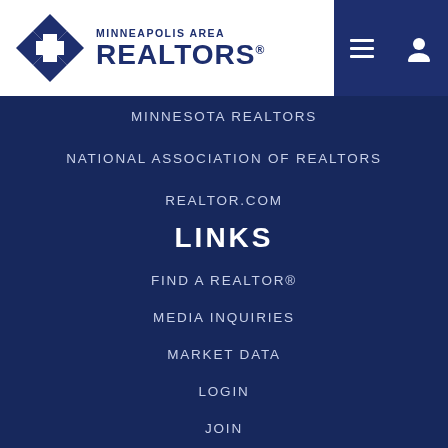[Figure (logo): Minneapolis Area REALTORS logo with diamond cross icon in dark blue and text 'MINNEAPOLIS AREA REALTORS®']
MINNESOTA REALTORS
NATIONAL ASSOCIATION OF REALTORS
REALTOR.COM
LINKS
FIND A REALTOR®
MEDIA INQUIRIES
MARKET DATA
LOGIN
JOIN